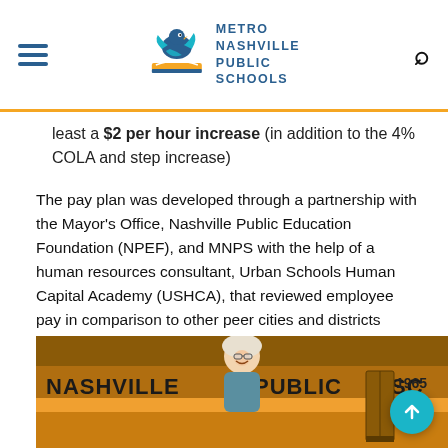Metro Nashville Public Schools
least a $2 per hour increase (in addition to the 4% COLA and step increase)
The pay plan was developed through a partnership with the Mayor's Office, Nashville Public Education Foundation (NPEF), and MNPS with the help of a human resources consultant, Urban Schools Human Capital Academy (USHCA), that reviewed employee pay in comparison to other peer cities and districts along with attrition rates for staff.
[Figure (photo): A smiling woman in a white headwrap and glasses standing in front of a yellow Nashville Public Schools bus.]